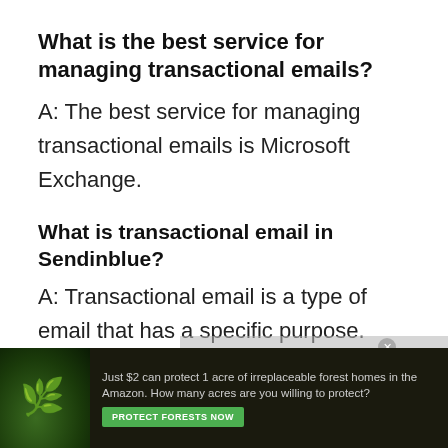What is the best service for managing transactional emails?
A: The best service for managing transactional emails is Microsoft Exchange.
What is transactional email in Sendinblue?
A: Transactional email is a type of email that has a specific purpose. These emails are typically used fo
[Figure (other): Advertisement banner: 'Just $2 can protect 1 acre of irreplaceable forest homes in the Amazon. How many acres are you willing to protect?' with a Protect Forests Now button, overlaid at the bottom of the page. Also overlaid: a video player message 'No compatible source was found for this.' and a reCAPTCHA logo.]